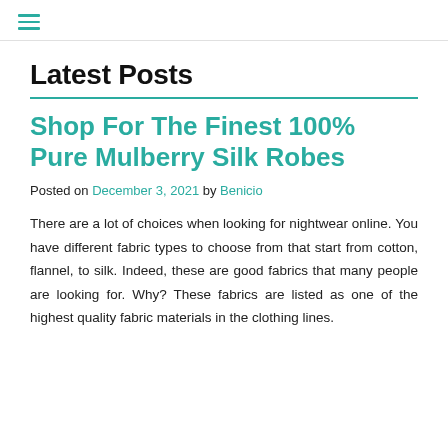≡
Latest Posts
Shop For The Finest 100% Pure Mulberry Silk Robes
Posted on December 3, 2021 by Benicio
There are a lot of choices when looking for nightwear online. You have different fabric types to choose from that start from cotton, flannel, to silk. Indeed, these are good fabrics that many people are looking for. Why? These fabrics are listed as one of the highest quality fabric materials in the clothing lines.